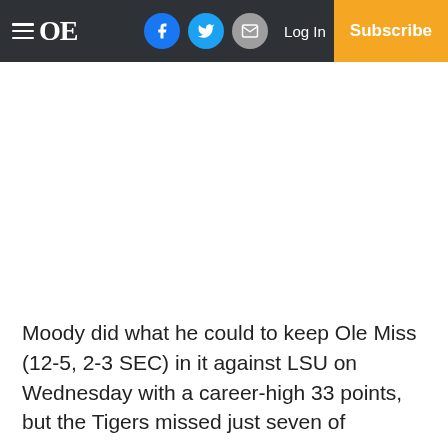≡ OE  [Facebook] [Twitter] [Email]  Log In  Subscribe
Moody did what he could to keep Ole Miss (12-5, 2-3 SEC) in it against LSU on Wednesday with a career-high 33 points, but the Tigers missed just seven of